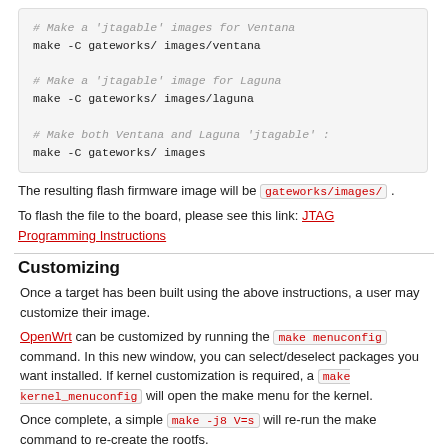# Make a 'jtagable' images for Ventana
make -C gateworks/ images/ventana

# Make a 'jtagable' image for Laguna
make -C gateworks/ images/laguna

# Make both Ventana and Laguna 'jtagable' :
make -C gateworks/ images
The resulting flash firmware image will be gateworks/images/ .
To flash the file to the board, please see this link: JTAG Programming Instructions
Customizing
Once a target has been built using the above instructions, a user may customize their image.
OpenWrt can be customized by running the make menuconfig command. In this new window, you can select/deselect packages you want installed. If kernel customization is required, a make kernel_menuconfig will open the make menu for the kernel.
Once complete, a simple make -j8 V=s will re-run the make command to re-create the rootfs.
Please read more at this page here.